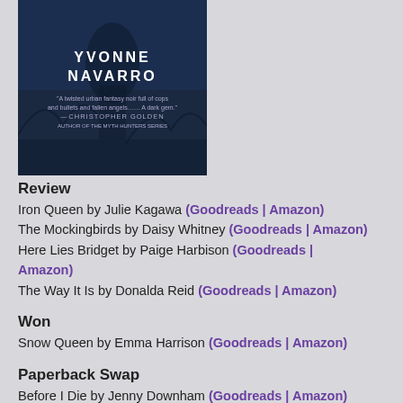[Figure (photo): Book cover of Highborn by Yvonne Navarro — dark background with a figure, author name in white bold letters, and a review quote at the bottom]
Review
Iron Queen by Julie Kagawa (Goodreads | Amazon)
The Mockingbirds by Daisy Whitney (Goodreads | Amazon)
Here Lies Bridget by Paige Harbison (Goodreads | Amazon)
The Way It Is by Donalda Reid (Goodreads | Amazon)
Won
Snow Queen by Emma Harrison (Goodreads | Amazon)
Paperback Swap
Before I Die by Jenny Downham (Goodreads | Amazon)
Bought
Highborn by Yvonne Navarro (Goodreads | Amazon)